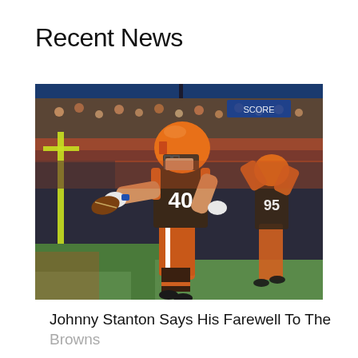Recent News
[Figure (photo): Cleveland Browns player #40 celebrating in the end zone holding a football, wearing orange helmet and brown/orange uniform, with player #95 visible in the background also celebrating, stadium crowd visible]
Johnny Stanton Says His Farewell To The Browns